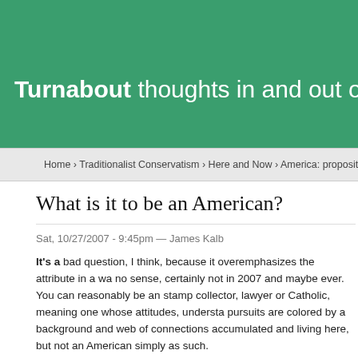Turnabout thoughts in and out of s
Home › Traditionalist Conservatism › Here and Now › America: proposition nation?
What is it to be an American?
Sat, 10/27/2007 - 9:45pm — James Kalb
It's a bad question, I think, because it overemphasizes the attribute in a wa no sense, certainly not in 2007 and maybe ever. You can reasonably be an stamp collector, lawyer or Catholic, meaning one whose attitudes, understa pursuits are colored by a background and web of connections accumulated and living here, but not an American simply as such.
If you try to answer the question as posed, and treat "American" as an iden attribute, here's what happens:
If you're a public man or pundit, you come up with something like what says: